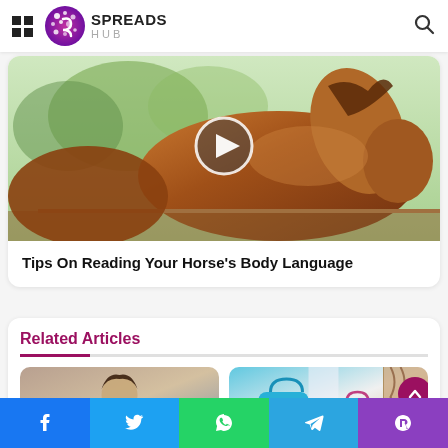[Figure (logo): Spreads Hub logo with purple/magenta dotted circular icon and text SPREADS HUB]
[Figure (photo): A brown horse photographed outdoors with a play button overlay in the center]
Tips On Reading Your Horse's Body Language
Related Articles
[Figure (photo): Young woman smiling holding a drink outdoors]
[Figure (photo): Woman holding colorful handbags (blue, pink) fashion photo]